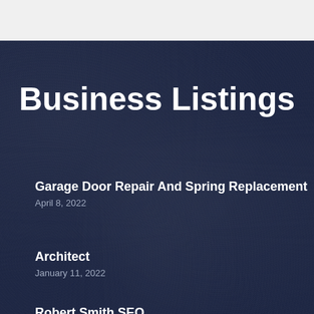Business Listings
Garage Door Repair And Spring Replacement
April 8, 2022
Architect
January 11, 2022
Robert Smith SEO
August 18, 2022